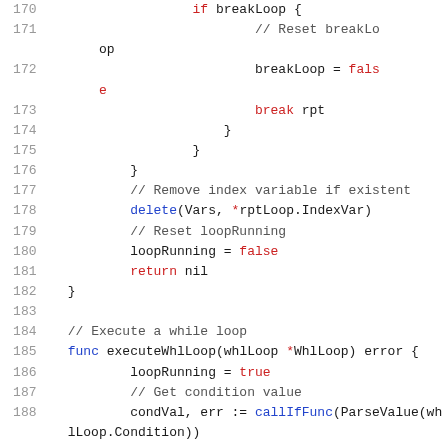[Figure (screenshot): Source code screenshot showing Go programming language code, lines 170-188, with syntax highlighting: blue for keywords like 'delete', 'func', red for keywords like 'if', 'break', 'return', 'false', 'true', 'nil', and gray for line numbers and comments.]